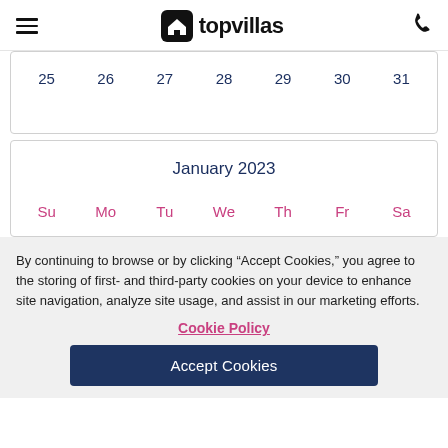topvillas
| 25 | 26 | 27 | 28 | 29 | 30 | 31 |
| --- | --- | --- | --- | --- | --- | --- |
January 2023
| Su | Mo | Tu | We | Th | Fr | Sa |
| --- | --- | --- | --- | --- | --- | --- |
By continuing to browse or by clicking “Accept Cookies,” you agree to the storing of first- and third-party cookies on your device to enhance site navigation, analyze site usage, and assist in our marketing efforts.
Cookie Policy
Accept Cookies